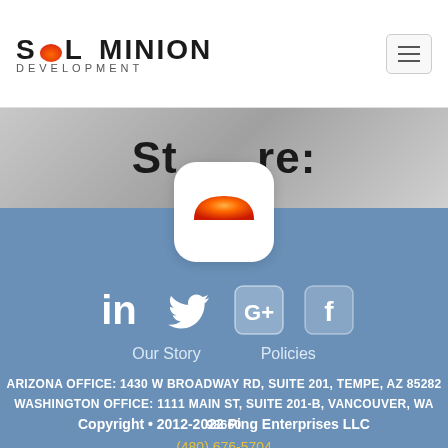SOL MINION DEVELOPMENT
St...re:
[Figure (logo): Sol Minion Development app icon: orange-red gradient semi-circle (sunrise) on white rounded rectangle background]
[Figure (infographic): Social media icons row: LinkedIn, Twitter, Google+, Facebook — white icons on blue background]
Our Story    Policies
ARIZONA OFFICE: 1430 W BROADWAY RD, SUITE 201, TEMPE, AZ 85282
WASHINGTON OFFICE: 1111 MAIN ST, SUITE 201-B, VANCOUVER, WA 98660
(480) 676-5704
Copyright • 2012-2022 Ping Enterprises LLC